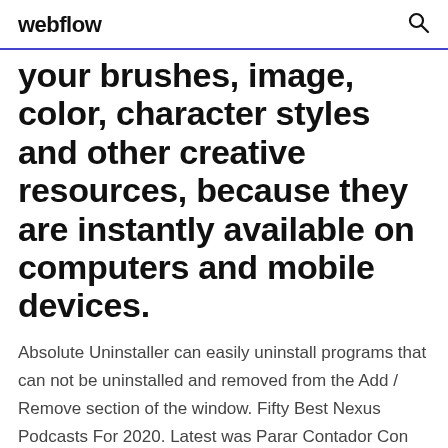webflow
your brushes, image, color, character styles and other creative resources, because they are instantly available on computers and mobile devices.
Absolute Uninstaller can easily uninstall programs that can not be uninstalled and removed from the Add / Remove section of the window. Fifty Best Nexus Podcasts For 2020. Latest was Parar Contador Con Iman De Neodimio. Listen online, no signup necessary. Download Free CleanMyMac X 4.5.2 [TNT] for Mac on Mac Torrent Download. CleanMyMac X 4.5.2 [TNT] - Makes it simple for macOS users to